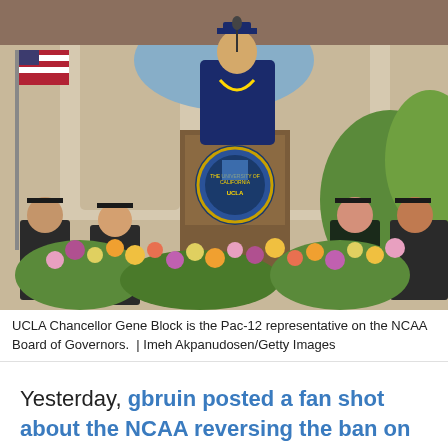[Figure (photo): UCLA Chancellor Gene Block in academic regalia speaking at a podium with the UCLA seal, surrounded by faculty in graduation robes and floral arrangements]
UCLA Chancellor Gene Block is the Pac-12 representative on the NCAA Board of Governors.  | Imeh Akpanudosen/Getty Images
Yesterday, gbruin posted a fan shot about the NCAA reversing the ban on satellite camps.